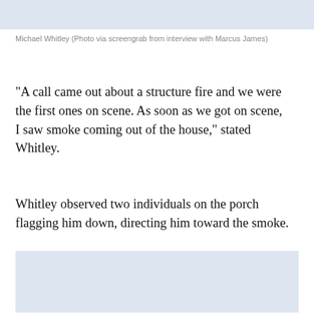[Figure (photo): Light blue placeholder area at the top of the page representing a photo]
Michael Whitley (Photo via screengrab from interview with Marcus James)
“A call came out about a structure fire and we were the first ones on scene. As soon as we got on scene, I saw smoke coming out of the house,” stated Whitley.
Whitley observed two individuals on the porch flagging him down, directing him toward the smoke.
[Figure (photo): Light blue placeholder area at the bottom of the page representing a second photo]